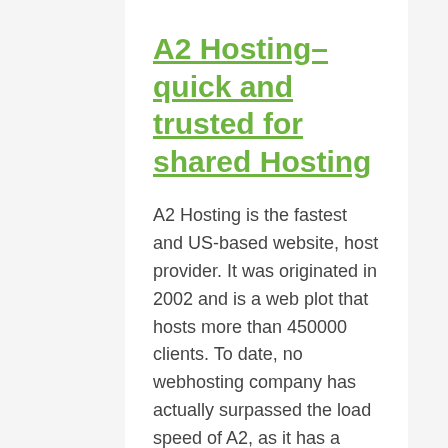A2 Hosting– quick and trusted for shared Hosting
A2 Hosting is the fastest and US-based website, host provider. It was originated in 2002 and is a web plot that hosts more than 450000 clients. To date, no webhosting company has actually surpassed the load speed of A2, as it has a wonderful load time of 320 ms.
The quick load time is achieved by the presence of LiteSpeed cache, and servers meant for WordPress sites. A2 has a minor constraint of dependability in terms of uptime. For the past 24 months, the